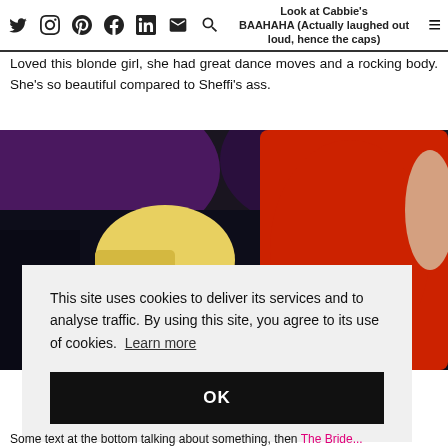Look at Cabbie's BAAHAHA (Actually laughed out loud, hence the caps)
Loved this blonde girl, she had great dance moves and a rocking body. She's so beautiful compared to Sheffi's ass.
[Figure (photo): Photo of a blonde woman and a person in a red shirt at a nightclub or event]
This site uses cookies to deliver its services and to analyse traffic. By using this site, you agree to its use of cookies. Learn more
Some text at the bottom talking about something, then The Bride...